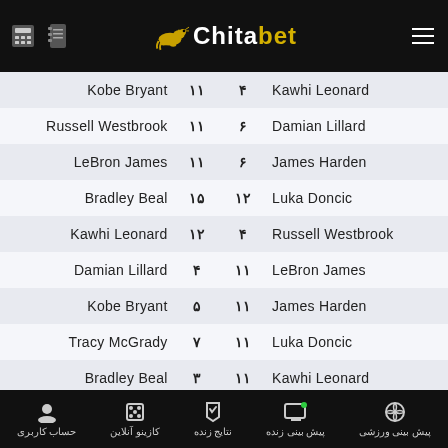Chitabet
| Home | Score Home | Score Away | Away |
| --- | --- | --- | --- |
| Kobe Bryant | ۱۱ | ۴ | Kawhi Leonard |
| Russell Westbrook | ۱۱ | ۶ | Damian Lillard |
| LeBron James | ۱۱ | ۶ | James Harden |
| Bradley Beal | ۱۵ | ۱۲ | Luka Doncic |
| Kawhi Leonard | ۱۲ | ۴ | Russell Westbrook |
| Damian Lillard | ۴ | ۱۱ | LeBron James |
| Kobe Bryant | ۵ | ۱۱ | James Harden |
| Tracy McGrady | ۷ | ۱۱ | Luka Doncic |
| Bradley Beal | ۳ | ۱۱ | Kawhi Leonard |
| Michael Jordan | ۶ | ۱۱ | LeBron James |
| James Harden | ۱۱ | ۶ | Damian Lillard |
حساب کاربری | کازینو آنلاین | نتایج زنده | پیش بینی زنده | پیش بینی ورزشی